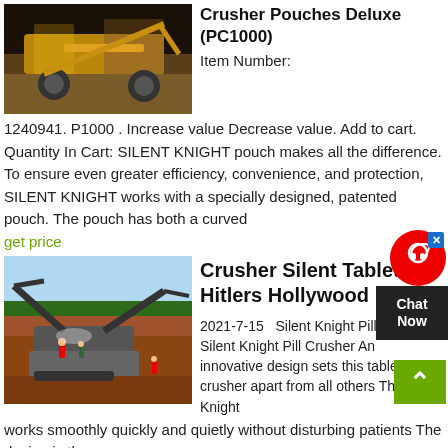[Figure (photo): Photo of industrial/mining machinery at night with yellow lighting and earthmoving equipment]
Crusher Pouches Deluxe (PC1000)
Item Number: 1240941. P1000 . Increase value Decrease value. Add to cart. Quantity In Cart: SILENT KNIGHT pouch makes all the difference. To ensure even greater efficiency, convenience, and protection, SILENT KNIGHT works with a specially designed, patented pouch. The pouch has both a curved
get price
[Figure (photo): Aerial photo of an industrial stone crushing/mining facility with conveyor belts and workers on red soil]
Crusher Silent Tablet Hitlers Hollywood
2021-7-15   Silent Knight Pill Crusher. Silent Knight Pill Crusher An innovative design sets this tablet crusher apart from all others The Silent Knight works smoothly quickly and quietly without disturbing patients The design is the especially designed, patented pouch. It has
[Figure (other): Chat Now widget with red circle icon and dark box]